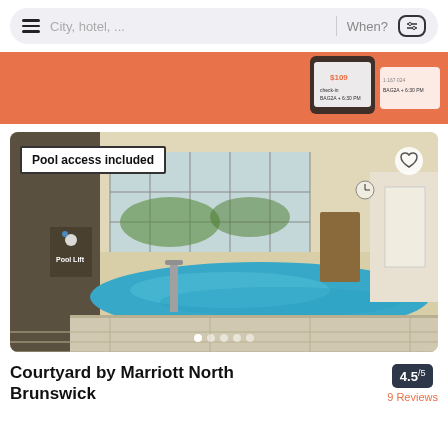City, hotel, ...  When?
[Figure (infographic): Orange promotional banner with phone/ticket imagery]
[Figure (photo): Indoor hotel pool with pool lift accessibility equipment, large windows, tile surround. Badge reads 'Pool access included'. Heart/favorite button in top right. Carousel dots at bottom.]
Courtyard by Marriott North Brunswick
4.5/5  9 Reviews